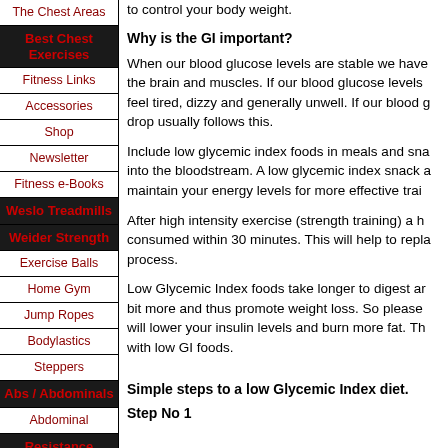The Chest Areas
Best Chest Exercises
Fitness Links
Accessories
Shop
Newsletter
Fitness e-Books
Weslo Treadmills
Weider Strength
Exercise Balls
Home Gym
Jump Ropes
Bodylastics
Steppers
Abs / Abdominals
Abdominal
Resistance Training
Yoga Mats
to control your body weight.
Why is the GI important?
When our blood glucose levels are stable we have the brain and muscles. If our blood glucose levels feel tired, dizzy and generally unwell. If our blood g drop usually follows this.
Include low glycemic index foods in meals and sna into the bloodstream. A low glycemic index snack a maintain your energy levels for more effective trai
After high intensity exercise (strength training) a h consumed within 30 minutes. This will help to repla process.
Low Glycemic Index foods take longer to digest ar bit more and thus promote weight loss. So please will lower your insulin levels and burn more fat. Th with low GI foods.
Simple steps to a low Glycemic Index diet.
Step No 1